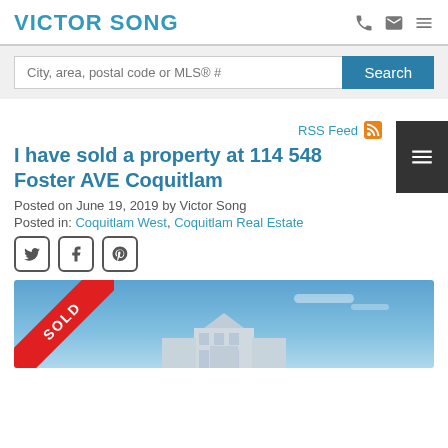VICTOR SONG
[Figure (screenshot): Search bar with placeholder 'City, area, postal code or MLS® #' and a teal Search button]
RSS Feed
I have sold a property at 114 548 Foster AVE Coquitlam
Posted on June 19, 2019 by Victor Song
Posted in: Coquitlam West, Coquitlam Real Estate
[Figure (photo): Property photo with blue sky background and a red SOLD diagonal banner in the top-left corner, with a building visible at the bottom]